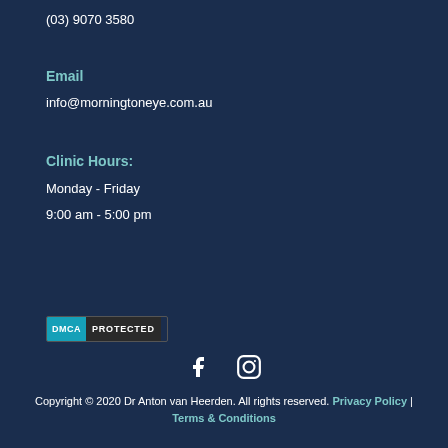(03) 9070 3580
Email
info@morningtoneye.com.au
Clinic Hours:
Monday - Friday
9:00 am - 5:00 pm
[Figure (logo): DMCA Protected badge with teal DMCA label and dark PROTECTED text]
[Figure (illustration): Facebook and Instagram social media icons]
Copyright © 2020 Dr Anton van Heerden. All rights reserved. Privacy Policy | Terms & Conditions